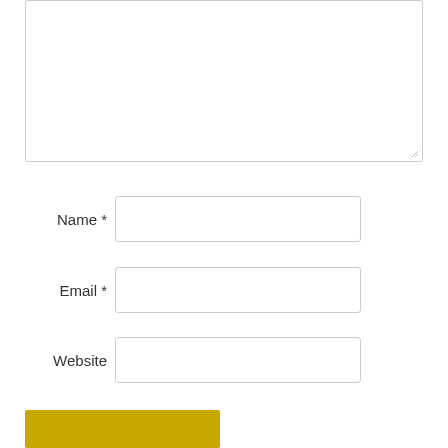[Figure (screenshot): A web form partial view showing a large textarea (comment box) at the top, followed by three labeled input fields: Name (required), Email (required), and Website. At the bottom is a gold/yellow submit button (partially visible).]
Name *
Email *
Website